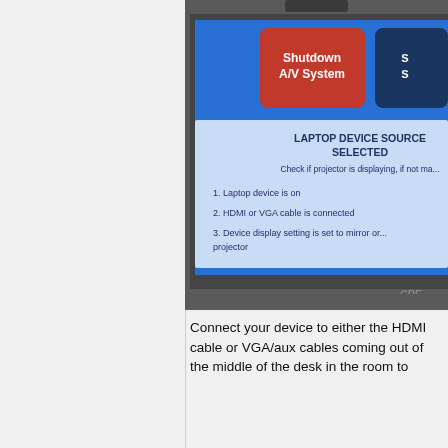[Figure (photo): A touchscreen control panel (Crestron) showing a blue interface with a red 'Shutdown A/V System' button and a dark blue button partially visible. Below the buttons is a light blue information panel titled 'LAPTOP DEVICE SOURCE SELECTED' with instructions: Check if projector is displaying, if not make sure: 1. Laptop device is on, 2. HDMI or VGA cable is connected, 3. Device display setting is set to mirror or extend to projector.]
Connect your device to either the HDMI cable or VGA/aux cables coming out of the middle of the desk in the room to